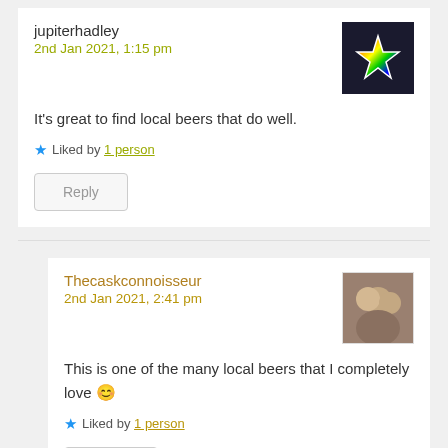jupiterhadley
2nd Jan 2021, 1:15 pm
It's great to find local beers that do well.
★ Liked by 1 person
Reply
Thecaskconnoisseur
2nd Jan 2021, 2:41 pm
This is one of the many local beers that I completely love 😊
★ Liked by 1 person
Reply